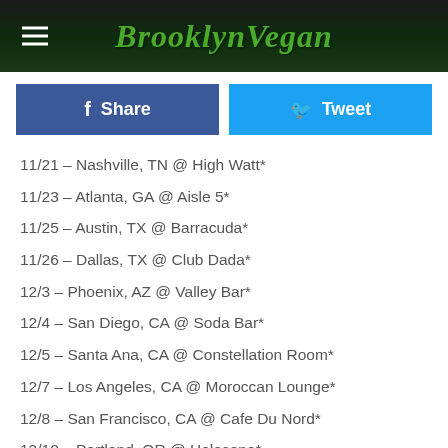Brooklyn Vegan
Share
Tweet
11/21 – Nashville, TN @ High Watt*
11/23 – Atlanta, GA @ Aisle 5*
11/25 – Austin, TX @ Barracuda*
11/26 – Dallas, TX @ Club Dada*
12/3 – Phoenix, AZ @ Valley Bar*
12/4 – San Diego, CA @ Soda Bar*
12/5 – Santa Ana, CA @ Constellation Room*
12/7 – Los Angeles, CA @ Moroccan Lounge*
12/8 – San Francisco, CA @ Cafe Du Nord*
12/10 – Portland, OR @ Holocene*
12/11 – Seattle, WA @ Columbia City Theater*